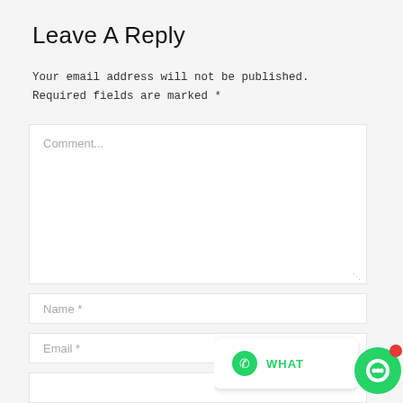Leave A Reply
Your email address will not be published. Required fields are marked *
[Figure (screenshot): Comment text area input field with placeholder text 'Comment...' and resize handle]
[Figure (screenshot): Name input field with placeholder 'Name *']
[Figure (screenshot): Email input field with placeholder 'Email *']
[Figure (screenshot): WhatsApp chat widget overlay with green icon and chat bubble in bottom right corner]
[Figure (screenshot): Additional input field at bottom of page]